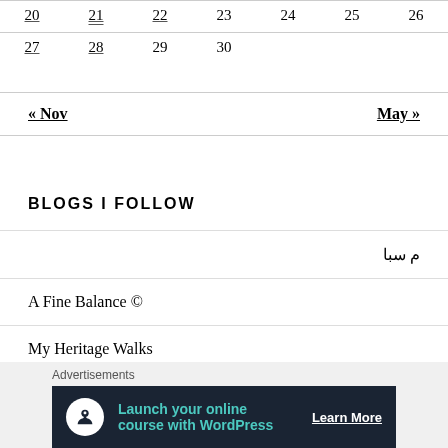| 20 | 21 | 22 | 23 | 24 | 25 | 26 |
| 27 | 28 | 29 | 30 |  |  |  |
« Nov    May »
BLOGS I FOLLOW
م سب​ا
A Fine Balance ©
My Heritage Walks
Shapes of Space
[Figure (infographic): Advertisement banner: Launch your online course with WordPress — Learn More]
Advertisements